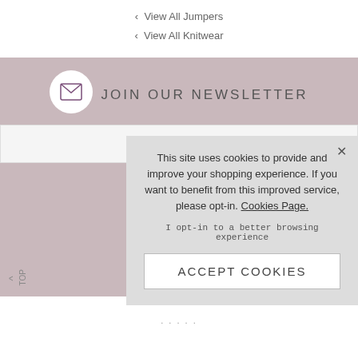‹ View All Jumpers
‹ View All Knitwear
JOIN OUR NEWSLETTER
Enter Email...
To see how...
By entering your e... consenting to su... emails and acknow... t
[Figure (screenshot): Cookie consent overlay with text: This site uses cookies to provide and improve your shopping experience. If you want to benefit from this improved service, please opt-in. Cookies Page. I opt-in to a better browsing experience. ACCEPT COOKIES button.]